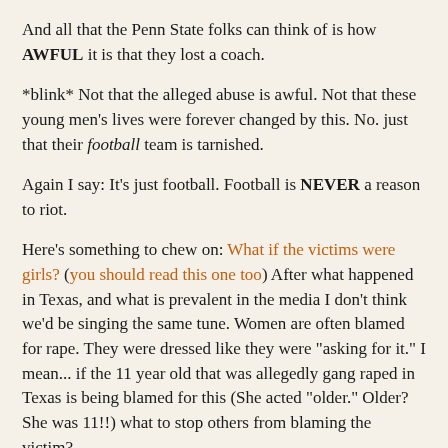And all that the Penn State folks can think of is how AWFUL it is that they lost a coach.
*blink* Not that the alleged abuse is awful. Not that these young men's lives were forever changed by this. No. just that their football team is tarnished.
Again I say: It's just football. Football is NEVER a reason to riot.
Here's something to chew on: What if the victims were girls? (you should read this one too) After what happened in Texas, and what is prevalent in the media I don't think we'd be singing the same tune. Women are often blamed for rape. They were dressed like they were "asking for it." I mean... if the 11 year old that was allegedly gang raped in Texas is being blamed for this (She acted "older." Older? She was 11!!) what to stop others from blaming the victim?
But I digress.
To sum up. Things are looking not great for Sandusky. Penn State cleaned house of the people that did what they should have done